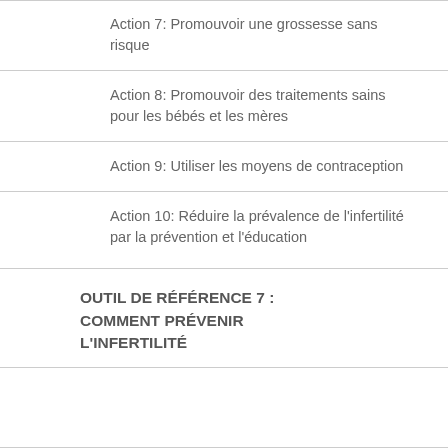Action 7: Promouvoir une grossesse sans risque
Action 8: Promouvoir des traitements sains pour les bébés et les mères
Action 9: Utiliser les moyens de contraception
Action 10: Réduire la prévalence de l'infertilité par la prévention et l'éducation
OUTIL DE RÉFÉRENCE 7 : COMMENT PRÉVENIR L'INFERTILITÉ